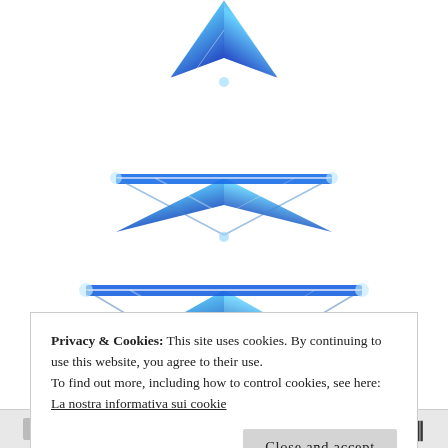[Figure (illustration): Three blue 3D glossy downward-pointing triangles/arrows stacked vertically, decreasing in size from bottom to top. The triangles have a shiny, faceted appearance with light blue to dark blue gradient and white highlights, set against a white background.]
Privacy & Cookies: This site uses cookies. By continuing to use this website, you agree to their use.
To find out more, including how to control cookies, see here: La nostra informativa sui cookie
Close and accept
[media player controls bar]